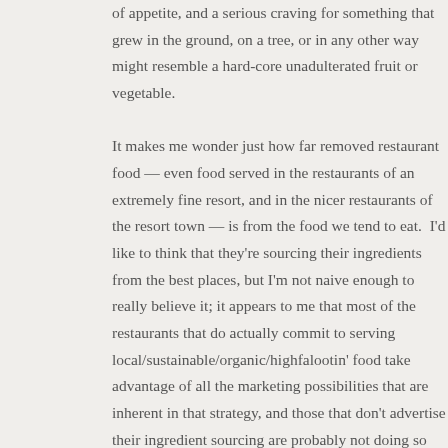of appetite, and a serious craving for something that grew in the ground, on a tree, or in any other way might resemble a hard-core unadulterated fruit or vegetable.

It makes me wonder just how far removed restaurant food — even food served in the restaurants of an extremely fine resort, and in the nicer restaurants of the resort town — is from the food we tend to eat.  I'd like to think that they're sourcing their ingredients from the best places, but I'm not naive enough to really believe it; it appears to me that most of the restaurants that do actually commit to serving local/sustainable/organic/highfalootin' food take advantage of all the marketing possibilities that are inherent in that strategy, and those that don't advertise their ingredient sourcing are probably not doing so for a reason.  I'd also like to think that everyone messes with the food as little as possible in constructing their dishes, but again, I know it's not true.  Restaurant food obviously comes with a heavier